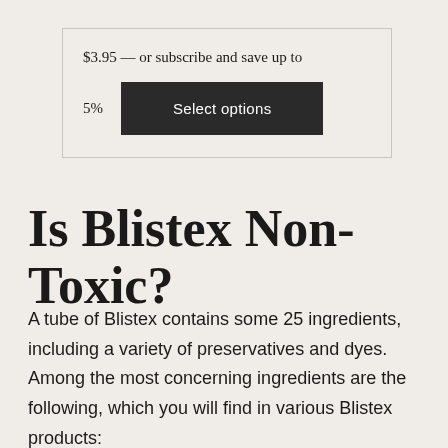$3.95 — or subscribe and save up to 5% Select options
Is Blistex Non-Toxic?
A tube of Blistex contains some 25 ingredients, including a variety of preservatives and dyes. Among the most concerning ingredients are the following, which you will find in various Blistex products: